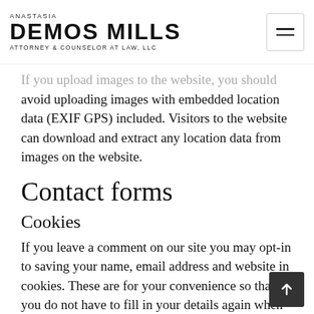ANASTASIA DEMOS MILLS ATTORNEY & COUNSELOR AT LAW, LLC
If you upload images to the website, you should avoid uploading images with embedded location data (EXIF GPS) included. Visitors to the website can download and extract any location data from images on the website.
Contact forms
Cookies
If you leave a comment on our site you may opt-in to saving your name, email address and website in cookies. These are for your convenience so that you do not have to fill in your details again when you leave another comment. These cookies will last for one year.